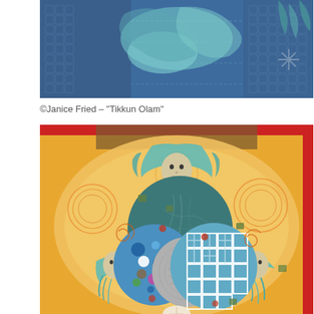[Figure (illustration): Abstract mixed-media artwork in blue and teal tones showing decorative patterns, geometric shapes, and organic forms with intricate stitching and textile-like textures]
©Janice Fried – "Tikkun Olam"
[Figure (illustration): Mixed-media artwork 'Tikkun Olam' by Janice Fried showing three female figures with flowing teal hair arranged around overlapping circles (dark teal cracked sphere, blue polka-dot circle, gray textured circle, blue geometric patterned circle) on a warm golden-orange background with swirling embroidered patterns and decorative elements]